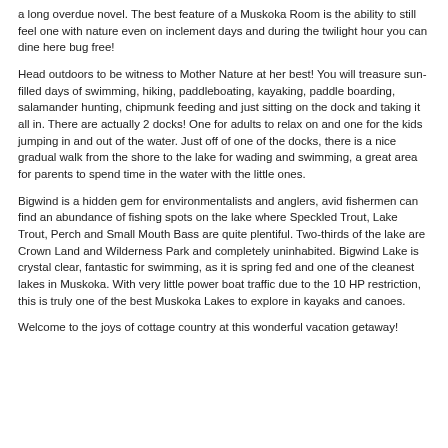a long overdue novel. The best feature of a Muskoka Room is the ability to still feel one with nature even on inclement days and during the twilight hour you can dine here bug free!
Head outdoors to be witness to Mother Nature at her best! You will treasure sun-filled days of swimming, hiking, paddleboating, kayaking, paddle boarding, salamander hunting, chipmunk feeding and just sitting on the dock and taking it all in. There are actually 2 docks! One for adults to relax on and one for the kids jumping in and out of the water. Just off of one of the docks, there is a nice gradual walk from the shore to the lake for wading and swimming, a great area for parents to spend time in the water with the little ones.
Bigwind is a hidden gem for environmentalists and anglers, avid fishermen can find an abundance of fishing spots on the lake where Speckled Trout, Lake Trout, Perch and Small Mouth Bass are quite plentiful. Two-thirds of the lake are Crown Land and Wilderness Park and completely uninhabited. Bigwind Lake is crystal clear, fantastic for swimming, as it is spring fed and one of the cleanest lakes in Muskoka. With very little power boat traffic due to the 10 HP restriction, this is truly one of the best Muskoka Lakes to explore in kayaks and canoes.
Welcome to the joys of cottage country at this wonderful vacation getaway!